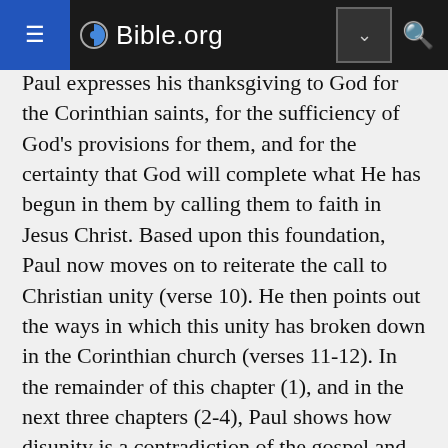Bible.org
Paul expresses his thanksgiving to God for the Corinthian saints, for the sufficiency of God's provisions for them, and for the certainty that God will complete what He has begun in them by calling them to faith in Jesus Christ. Based upon this foundation, Paul now moves on to reiterate the call to Christian unity (verse 10). He then points out the ways in which this unity has broken down in the Corinthian church (verses 11-12). In the remainder of this chapter (1), and in the next three chapters (2-4), Paul shows how disunity is a contradiction of the gospel and how unity is a manifestation of the gospel.
The lessons Paul has for the saints of his day are most applicable to our own lives as well. The conflicts which existed then are still very much with us today. We have conflict and strife in the church, in the home, and at work. Paul will have us see that not only are such divisions